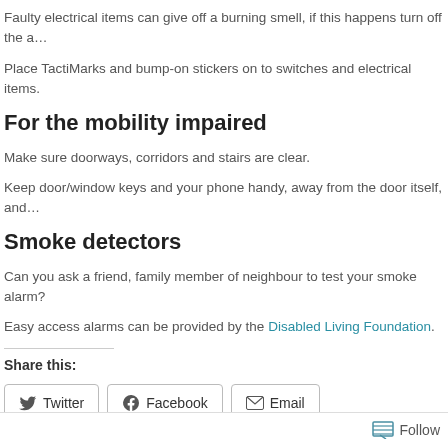Faulty electrical items can give off a burning smell, if this happens turn off the a…
Place TactiMarks and bump-on stickers on to switches and electrical items.
For the mobility impaired
Make sure doorways, corridors and stairs are clear.
Keep door/window keys and your phone handy, away from the door itself, and…
Smoke detectors
Can you ask a friend, family member of neighbour to test your smoke alarm?
Easy access alarms can be provided by the Disabled Living Foundation.
Share this:
Twitter  Facebook  Email
Like
Be the first to like this
Follow